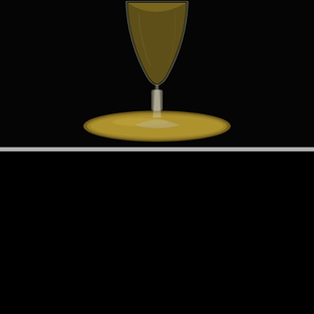[Figure (photo): A cocktail glass with a golden/amber liquid on a brass/gold plate, photographed against a dark black background. The glass has a tall stem with a crystal base.]
No. 155: Jimmie Roosevelt
Champagne, Cognac, Green Chartreuse
[Figure (photo): A golden amber cocktail with frothy white foam/ice on top, served in a short wide-mouthed glass, photographed against a dark black background.]